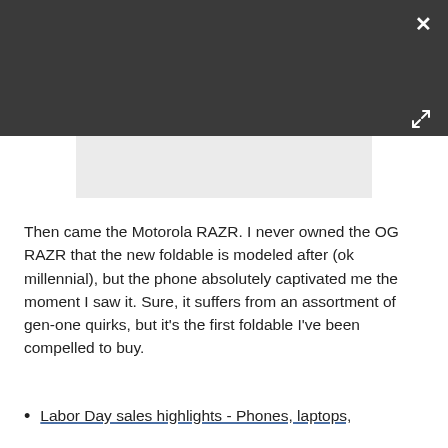[Figure (screenshot): Dark modal header bar with a white X close button in the top-right corner and a white expand/fullscreen icon in the bottom-right area of the dark bar. A light gray image placeholder rectangle is partially visible below the dark bar.]
Then came the Motorola RAZR. I never owned the OG RAZR that the new foldable is modeled after (ok millennial), but the phone absolutely captivated me the moment I saw it. Sure, it suffers from an assortment of gen-one quirks, but it's the first foldable I've been compelled to buy.
Labor Day sales highlights - Phones, laptops,